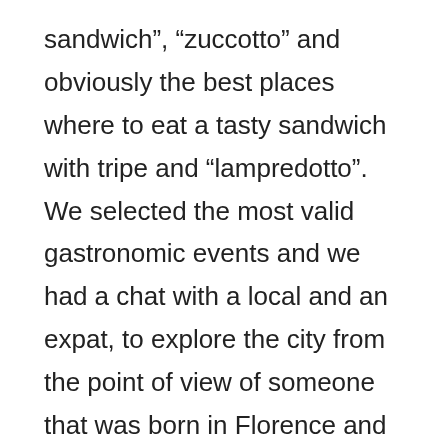sandwich”, “zuccotto” and obviously the best places where to eat a tasty sandwich with tripe and “lampredotto”. We selected the most valid gastronomic events and we had a chat with a local and an expat, to explore the city from the point of view of someone that was born in Florence and someone who chose to move and live there. We spoke with a journalist and gastronome from Florence, Leonardo Romanelli and a blogger and content editor from Texas,